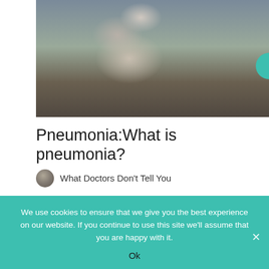[Figure (photo): Stacked smooth stones/pebbles balanced on a rocky surface near water, with a natural outdoor background in warm and cool tones.]
Pneumonia:What is pneumonia?
What Doctors Don't Tell You
Pneumonia is not a single disease entity. It is a term used to describe a generalised inflammation of the lung that can be caused by a number of different infectious organisms, mostly a variety of bacteria such
We use cookies to ensure that we give you the best experience on our website. If you continue to use this site we'll assume that you are happy with it.
Ok